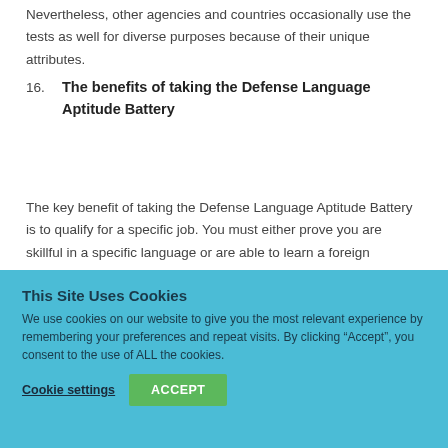Nevertheless, other agencies and countries occasionally use the tests as well for diverse purposes because of their unique attributes.
16. The benefits of taking the Defense Language Aptitude Battery
The key benefit of taking the Defense Language Aptitude Battery is to qualify for a specific job. You must either prove you are skillful in a specific language or are able to learn a foreign language, depending on the position desired.
This Site Uses Cookies
We use cookies on our website to give you the most relevant experience by remembering your preferences and repeat visits. By clicking “Accept”, you consent to the use of ALL the cookies.
Cookie settings  ACCEPT